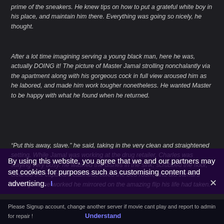prime of the sneakers. He knew tips on how to put a grateful white boy in his place, and maintain him there. Everything was going so nicely, he thought.
After a lot time imagining serving a young black man, here he was, actually DOING it! The picture of Master Jamal strolling nonchalantly via the apartment along with his gorgeous cock in full view aroused him as he labored, and made him work tougher nonetheless. He wanted Master to be happy with what he found when he returned.
“Put this away, slave.” he said, taking in the very clean and straightened setting. While Jamal was working at the drug retailer, Charles was staying very busy. he washed the dishes in the sink, scrubbed the floor, cleaned the cupboard cabinets, tidied the bed room, and did Jamal’s laundry. As he worked he mirrored on the amazing flip his life had taken.
Views: 579
Genre: Tokyo-Hot, Uncensored
Actors: Miku Iwasaki
Country: Japan
Duration: 45min
Quality: HD
Release: 2012
By using this website, you agree that we and our partners may set cookies for purposes such as customising content and advertising.
Please Signup account, change another server if movie cant play and report to admin for repair !
Understand